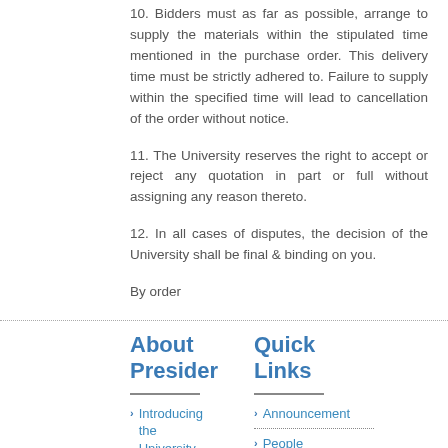10. Bidders must as far as possible, arrange to supply the materials within the stipulated time mentioned in the purchase order. This delivery time must be strictly adhered to. Failure to supply within the specified time will lead to cancellation of the order without notice.
11. The University reserves the right to accept or reject any quotation in part or full without assigning any reason thereto.
12. In all cases of disputes, the decision of the University shall be final & binding on you.
By order
About Presider
Quick Links
Introducing the University
Announcement
People